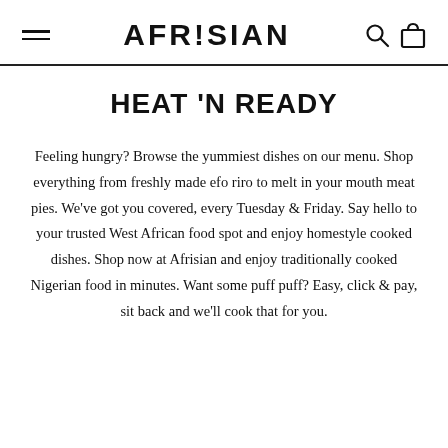AFRISIAN
HEAT 'N READY
Feeling hungry? Browse the yummiest dishes on our menu. Shop everything from freshly made efo riro to melt in your mouth meat pies. We've got you covered, every Tuesday & Friday. Say hello to your trusted West African food spot and enjoy homestyle cooked dishes. Shop now at Afrisian and enjoy traditionally cooked Nigerian food in minutes. Want some puff puff? Easy, click & pay, sit back and we'll cook that for you.